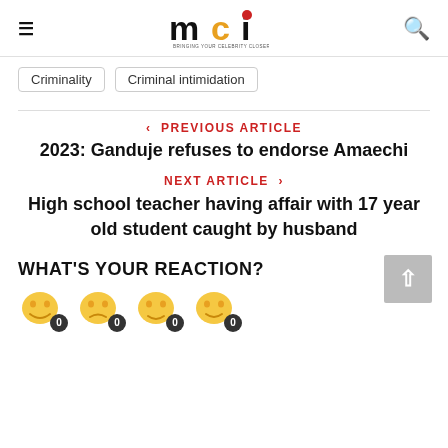mci — BRINGING YOUR CELEBRITY CLOSER TO YOU
Criminality
Criminal intimidation
PREVIOUS ARTICLE
2023: Ganduje refuses to endorse Amaechi
NEXT ARTICLE
High school teacher having affair with 17 year old student caught by husband
WHAT'S YOUR REACTION?